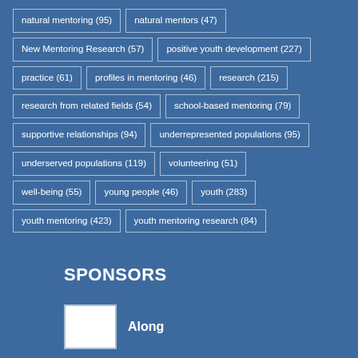natural mentoring (95)
natural mentors (47)
New Mentoring Research (57)
positive youth development (227)
practice (61)
profiles in mentoring (46)
research (215)
research from related fields (54)
school-based mentoring (79)
supportive relationships (94)
underrepresented populations (95)
underserved populations (119)
volunteering (51)
well-being (55)
young people (46)
youth (283)
youth mentoring (423)
youth mentoring research (84)
SPONSORS
[Figure (logo): Sponsor logo box (white rectangle placeholder)]
Along
In support of our continued conversation on how to support